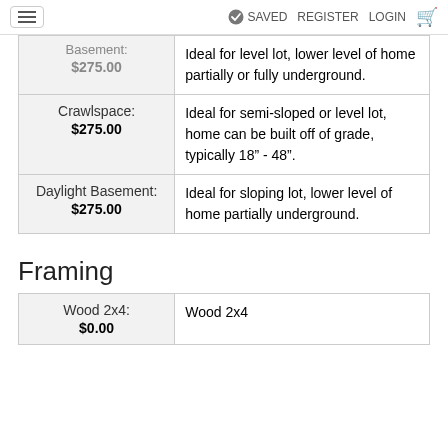SAVED  REGISTER  LOGIN
| Option | Description |
| --- | --- |
| Basement: $275.00 | Ideal for level lot, lower level of home partially or fully underground. |
| Crawlspace: $275.00 | Ideal for semi-sloped or level lot, home can be built off of grade, typically 18" - 48". |
| Daylight Basement: $275.00 | Ideal for sloping lot, lower level of home partially underground. |
Framing
| Option | Description |
| --- | --- |
| Wood 2x4: $0.00 | Wood 2x4 |